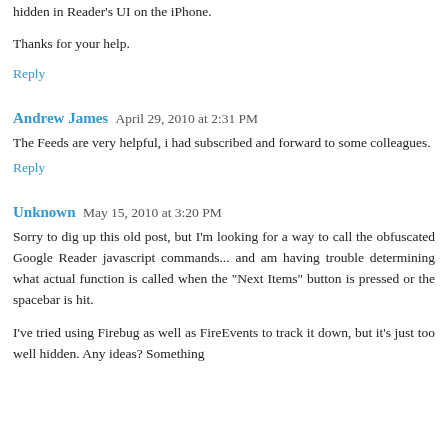hidden in Reader's UI on the iPhone.
Thanks for your help.
Reply
Andrew James  April 29, 2010 at 2:31 PM
The Feeds are very helpful, i had subscribed and forward to some colleagues.
Reply
Unknown  May 15, 2010 at 3:20 PM
Sorry to dig up this old post, but I'm looking for a way to call the obfuscated Google Reader javascript commands... and am having trouble determining what actual function is called when the "Next Items" button is pressed or the spacebar is hit.
I've tried using Firebug as well as FireEvents to track it down, but it's just too well hidden. Any ideas? Something